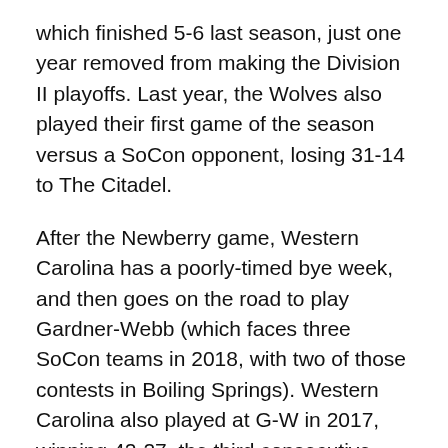which finished 5-6 last season, just one year removed from making the Division II playoffs. Last year, the Wolves also played their first game of the season versus a SoCon opponent, losing 31-14 to The Citadel.
After the Newberry game, Western Carolina has a poorly-timed bye week, and then goes on the road to play Gardner-Webb (which faces three SoCon teams in 2018, with two of those contests in Boiling Springs). Western Carolina also played at G-W in 2017, winning 42-27, the third consecutive victory for the Catamounts over the Runnin' Bulldogs.
WCU then plays all eight of its SoCon opponents over an eight-week stretch. After the last of those matchups (a home contest versus Wofford), the Catamounts conclude regular season play with a game at North Carolina. It will